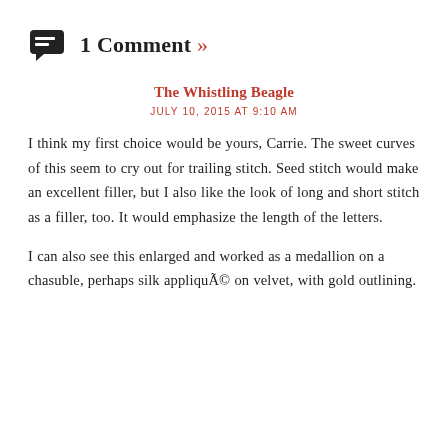1 Comment »
The Whistling Beagle
JULY 10, 2015 AT 9:10 AM
I think my first choice would be yours, Carrie. The sweet curves of this seem to cry out for trailing stitch. Seed stitch would make an excellent filler, but I also like the look of long and short stitch as a filler, too. It would emphasize the length of the letters.
I can also see this enlarged and worked as a medallion on a chasuble, perhaps silk appliqué on velvet, with gold outlining.